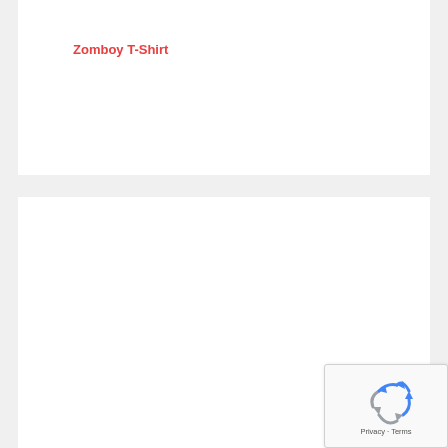Zomboy T-Shirt
[Figure (photo): Empty white product image area for Zomboy T-Shirt]
Brains are awesome! T-Shirt
[Figure (logo): Google reCAPTCHA widget with recycling arrows icon and Privacy/Terms text]